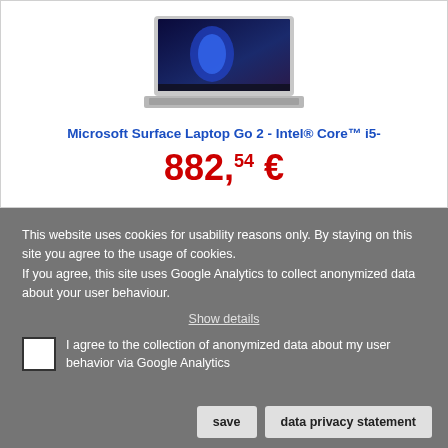[Figure (photo): Microsoft Surface Laptop Go 2 laptop product image shown from slight angle, silver color with Windows 11 desktop visible on screen]
Microsoft Surface Laptop Go 2 - Intel® Core™ i5-
882,54 €
This website uses cookies for usability reasons only. By staying on this site you agree to the usage of cookies.
If you agree, this site uses Google Analytics to collect anonymized data about your user behaviour.
Show details
I agree to the collection of anonymized data about my user behavior via Google Analytics
save
data privacy statement